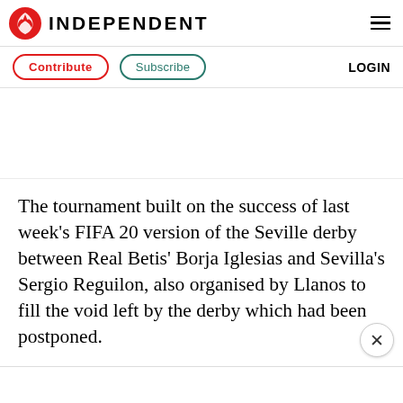INDEPENDENT
Contribute   Subscribe   LOGIN
The tournament built on the success of last week's FIFA 20 version of the Seville derby between Real Betis' Borja Iglesias and Sevilla's Sergio Reguilon, also organised by Llanos to fill the void left by the derby which had been postponed.